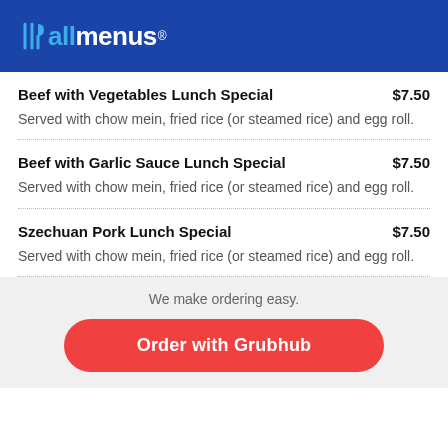allmenus
Beef with Vegetables Lunch Special  $7.50
Served with chow mein, fried rice (or steamed rice) and egg roll.
Beef with Garlic Sauce Lunch Special  $7.50
Served with chow mein, fried rice (or steamed rice) and egg roll.
Szechuan Pork Lunch Special  $7.50
Served with chow mein, fried rice (or steamed rice) and egg roll.
We make ordering easy.
Order with Grubhub